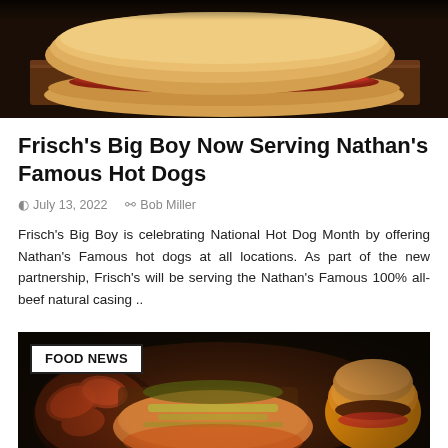[Figure (photo): Close-up photo of a Nathan's Famous hot dog in a bun on a wooden surface, warm tones]
Frisch's Big Boy Now Serving Nathan's Famous Hot Dogs
July 13, 2022   Bob Miller
Frisch's Big Boy is celebrating National Hot Dog Month by offering Nathan's Famous hot dogs at all locations. As part of the new partnership, Frisch's will be serving the Nathan's Famous 100% all-beef natural casing ..
[Figure (photo): Dark food photography showing various Nathan's Famous menu items including wings, loaded hot dogs, a burger, and other dishes on a dark background with a FOOD NEWS badge overlay]